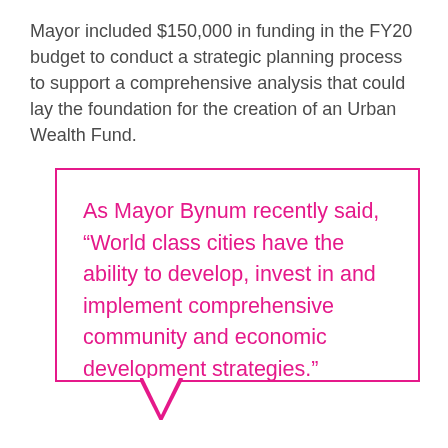Mayor included $150,000 in funding in the FY20 budget to conduct a strategic planning process to support a comprehensive analysis that could lay the foundation for the creation of an Urban Wealth Fund.
As Mayor Bynum recently said, “World class cities have the ability to develop, invest in and implement comprehensive community and economic development strategies.”